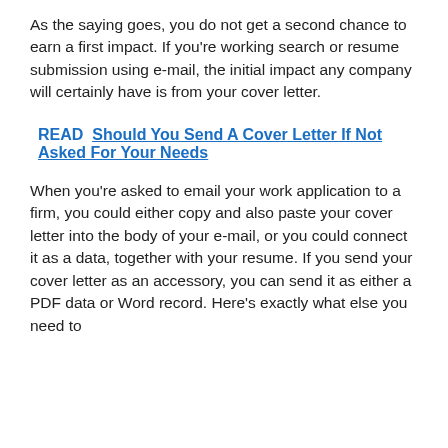As the saying goes, you do not get a second chance to earn a first impact. If you're working search or resume submission using e-mail, the initial impact any company will certainly have is from your cover letter.
READ  Should You Send A Cover Letter If Not Asked For Your Needs
When you're asked to email your work application to a firm, you could either copy and also paste your cover letter into the body of your e-mail, or you could connect it as a data, together with your resume. If you send your cover letter as an accessory, you can send it as either a PDF data or Word record. Here's exactly what else you need to